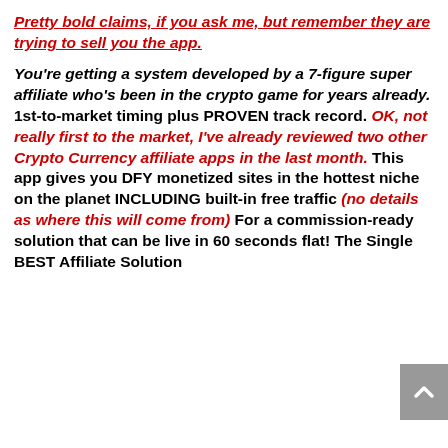Pretty bold claims, if you ask me, but remember they are trying to sell you the app.
You're getting a system developed by a 7-figure super affiliate who's been in the crypto game for years already. 1st-to-market timing plus PROVEN track record. OK, not really first to the market, I've already reviewed two other Crypto Currency affiliate apps in the last month. This app gives you DFY monetized sites in the hottest niche on the planet INCLUDING built-in free traffic (no details as where this will come from) For a commission-ready solution that can be live in 60 seconds flat! The Single BEST Affiliate Solution